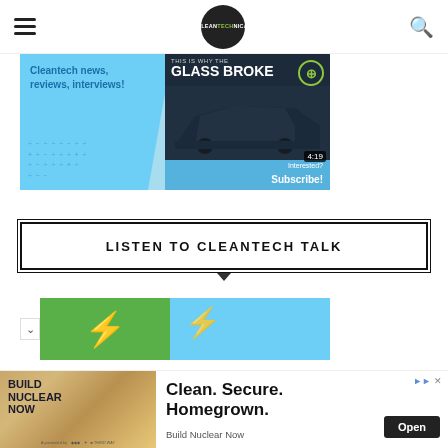CleanTechnica header with hamburger menu, logo, and search icon
[Figure (screenshot): Cleantech news reviews interviews YouTube banner with THIS IS WHY THE GLASS BROKE video thumbnail, 4:19 duration, Interested? Subscribe! call to action]
LISTEN TO CLEANTECH TALK
[Figure (screenshot): Podcast banner with green and blue sections featuring lightning bolt icons]
[Figure (infographic): Advertisement: Build Nuclear Now. Clean. Secure. Homegrown. Open button. Build Nuclear Now text.]